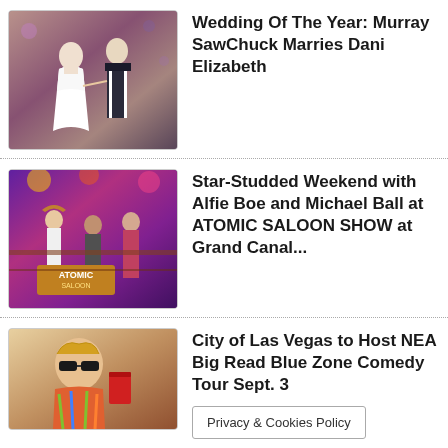[Figure (photo): Wedding photo of couple in formal attire, bride in white gown]
Wedding Of The Year: Murray SawChuck Marries Dani Elizabeth
[Figure (photo): Performers at Atomic Saloon Show in colorful costumes on stage]
Star-Studded Weekend with Alfie Boe and Michael Ball at ATOMIC SALOON SHOW at Grand Canal...
[Figure (photo): Man in sunglasses and Hawaiian shirt at Las Vegas event]
City of Las Vegas to Host NEA Big Read Blue Zone Comedy Tour Sept. 3
Privacy & Cookies Policy